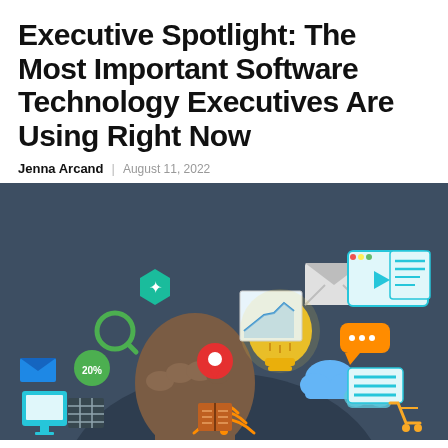Executive Spotlight: The Most Important Software Technology Executives Are Using Right Now
Jenna Arcand | August 11, 2022
[Figure (photo): A person's hand holding and interacting with various digital technology icons floating in the air, including a lightbulb, location pin, email envelope, chart, cloud icons, shopping cart, video player, speech bubbles, document, book, and Wi-Fi symbol, on a dark background.]